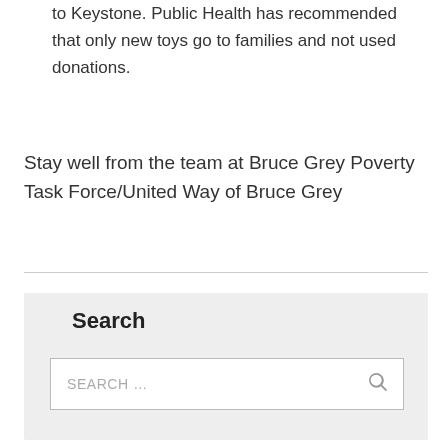to Keystone. Public Health has recommended that only new toys go to families and not used donations.
Stay well from the team at Bruce Grey Poverty Task Force/United Way of Bruce Grey